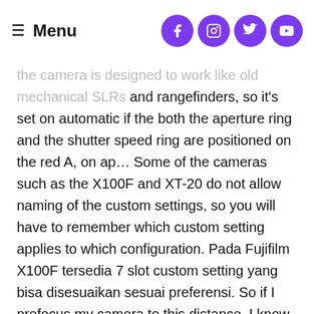≡ Menu
the camera is designed to work like old mechanical SLRs and rangefinders, so it's set on automatic if the both the aperture ring and the shutter speed ring are positioned on the red A, on ap… Some of the cameras such as the X100F and XT-20 do not allow naming of the custom settings, so you will have to remember which custom setting applies to which configuration. Pada Fujifilm X100F tersedia 7 slot custom setting yang bisa disesuaikan sesuai preferensi. So if I prefocus my camera to this distance, I know that everything between 2.5 meters and infinity will be in focus. If you like Fuji's film simulations, you may want to use this one often. Is it possible to rename or title the custom settings on the X100F? Generally, the settings I talk about there also apply to the X100F. We set these in the next menu item: So, if you want to move, say, the Film Simulation setting to the top left – so it's selected as soon as you press the